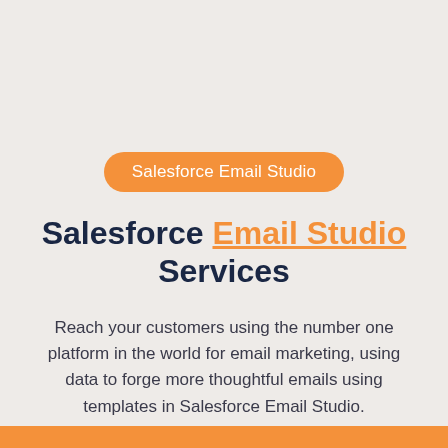Salesforce Email Studio
Salesforce Email Studio Services
Reach your customers using the number one platform in the world for email marketing, using data to forge more thoughtful emails using templates in Salesforce Email Studio.